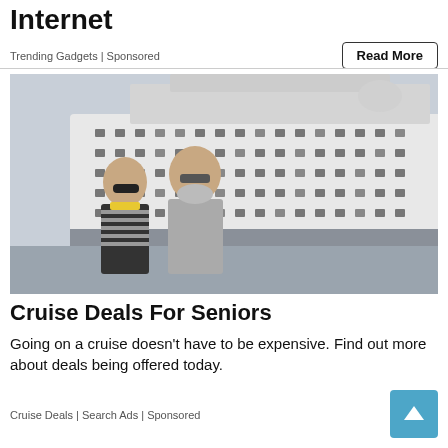Internet
Trending Gadgets | Sponsored
Read More
[Figure (photo): Two seniors (an older woman in a striped shirt with sunglasses and a yellow scarf, and an older man with glasses and a beard in a grey polo) standing in front of a large white cruise ship docked at port.]
Cruise Deals For Seniors
Going on a cruise doesn't have to be expensive. Find out more about deals being offered today.
Cruise Deals | Search Ads | Sponsored